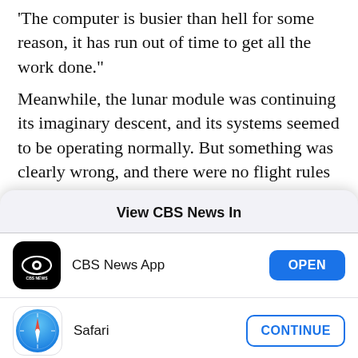'The computer is busier than hell for some reason, it has run out of time to get all the work done."
Meanwhile, the lunar module was continuing its imaginary descent, and its systems seemed to be operating normally. But something was clearly wrong, and there were no flight rules defining a procedure to correct the problem. After still more alarms, Bales, seated on the right end of a string of consoles known as "The Trench," reached a decision
View CBS News In
CBS News App — OPEN
Safari — CONTINUE